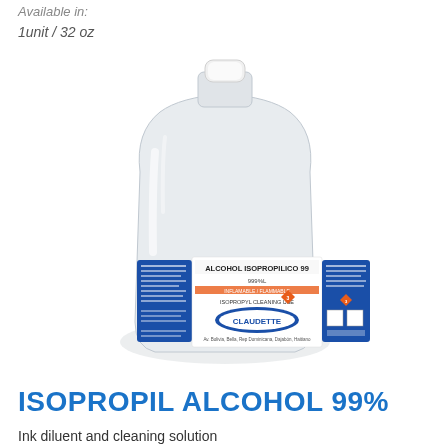Available in:
1unit / 32 oz
[Figure (photo): A large plastic gallon jug of Claudette Isopropil Alcohol 99% with a blue label, white cap, clear/white liquid inside.]
ISOPROPIL ALCOHOL 99%
Ink diluent and cleaning solution